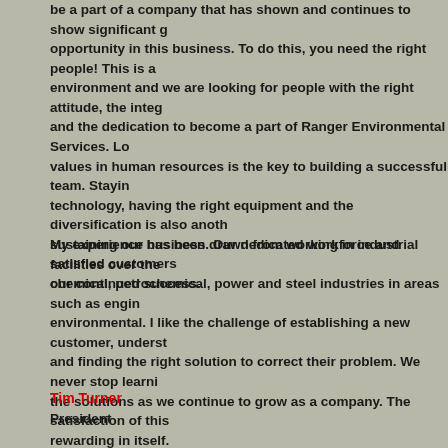be a part of a company that has shown and continues to show significant g opportunity in this business. To do this, you need the right people! This is a environment and we are looking for people with the right attitude, the integ and the dedication to become a part of Ranger Environmental Services. Lo values in human resources is the key to building a successful team. Stayin technology, having the right equipment and the diversification is also anoth sustaining our business. Our dedicated workforce and satisfied customers our continued success.
My experience has been drawn from working in industrial facilities over the chemical, petrochemical, power and steel industries in areas such as engin environmental. I like the challenge of establishing a new customer, underst and finding the right solution to correct their problem. We never stop learni the solutions as we continue to grow as a company. The satisfaction of this rewarding in itself.
Tim Turner
President